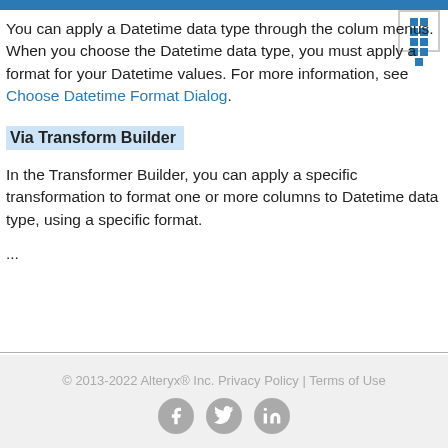You can apply a Datetime data type through the column menus. When you choose the Datetime data type, you must apply a format for your Datetime values. For more information, see Choose Datetime Format Dialog.
Via Transform Builder
In the Transformer Builder, you can apply a specific transformation to format one or more columns to Datetime data type, using a specific format.
...
© 2013-2022 Alteryx® Inc. Privacy Policy | Terms of Use